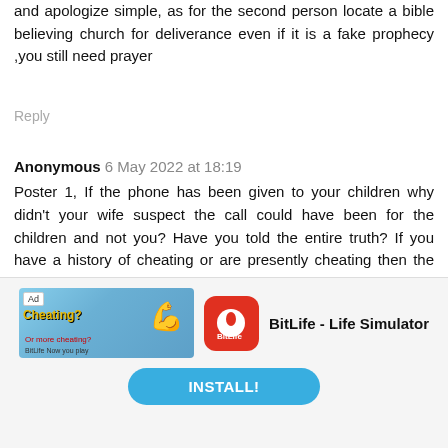and apologize simple, as for the second person locate a bible believing church for deliverance even if it is a fake prophecy ,you still need prayer
Reply
Anonymous 6 May 2022 at 18:19
Poster 1, If the phone has been given to your children why didn't your wife suspect the call could have been for the children and not you? Have you told the entire truth? If you have a history of cheating or are presently cheating then the matter needs to be dealt with completely. Why doesn't your brother have your new number? Obviously there are lots of secrets or secretive activities in your family, so that is what you need to deal with. Let honesty and openness reign in your household so your wife can be at ease.
[Figure (infographic): Advertisement banner for BitLife - Life Simulator app with install button]